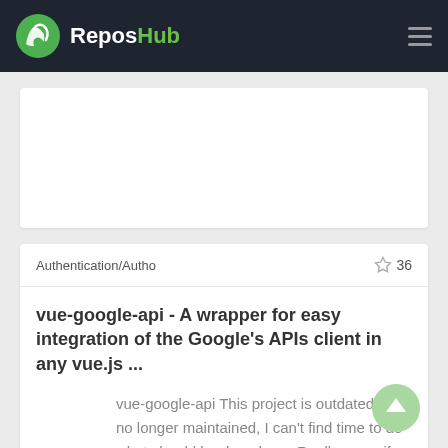ReposHub
Authentication/Autho
36
vue-google-api - A wrapper for easy integration of the Google's APIs client in any vue.js ...
vue-google-api This project is outdated and no longer maintained, I can't find time to do what should be done here. Really sorry, if someone wants to